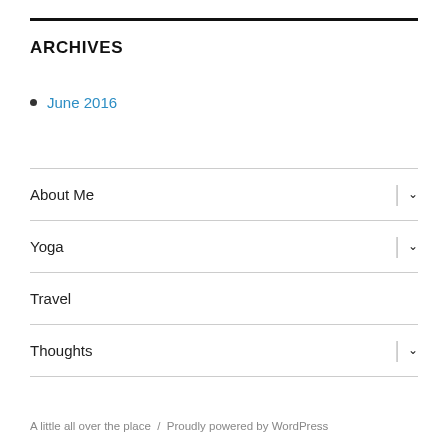ARCHIVES
June 2016
About Me
Yoga
Travel
Thoughts
A little all over the place  /  Proudly powered by WordPress